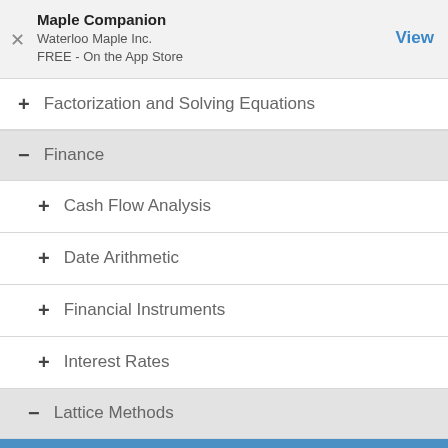Maple Companion
Waterloo Maple Inc.
FREE - On the App Store
+ Factorization and Solving Equations
− Finance
+ Cash Flow Analysis
+ Date Arithmetic
+ Financial Instruments
+ Interest Rates
− Lattice Methods
Lattice Methods Overview
BinomialTree